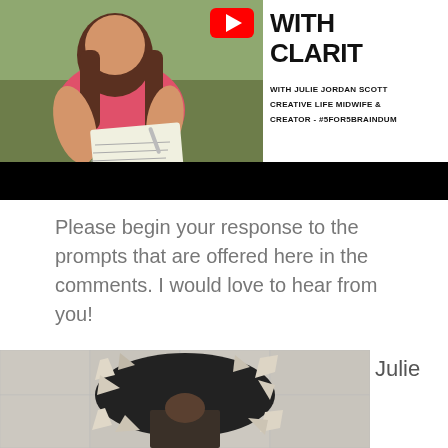[Figure (screenshot): YouTube video thumbnail showing a woman in a pink shirt writing in a notebook outdoors, with YouTube play button in top right corner. Right side shows text: WITH CLARITY, WITH JULIE JORDAN SCOTT, CREATIVE LIFE MIDWIFE & CREATOR - #5FOR5BRAINDUMP on white background.]
Please begin your response to the prompts that are offered here in the comments. I would love to hear from you!
[Figure (photo): Photo of a hole in a white plaster/stucco wall, showing damage with debris and a dark interior visible through the opening. Person visible at bottom of image.]
Julie